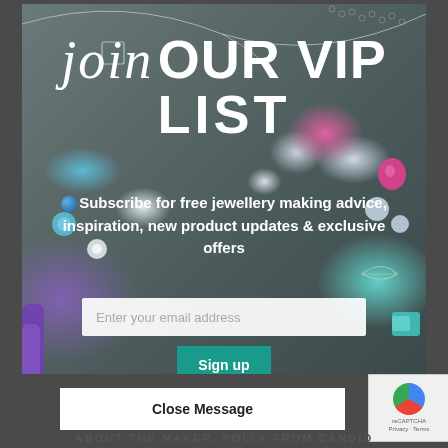[Figure (photo): Jewelry making photo background showing silver necklaces, colorful gemstones (teal, white, pink, purple), wire leaves, a purple foam grip tool, and pliers on a gray stone surface.]
join OUR VIP LIST
Subscribe for free jewellery making advice, inspiration, new product updates & exclusive offers
Enter your email address
Sign up
This website uses cookies to improve your experience. Learn more
Close Message
ABOUT THE MAKER, POLLY FROM CANDID